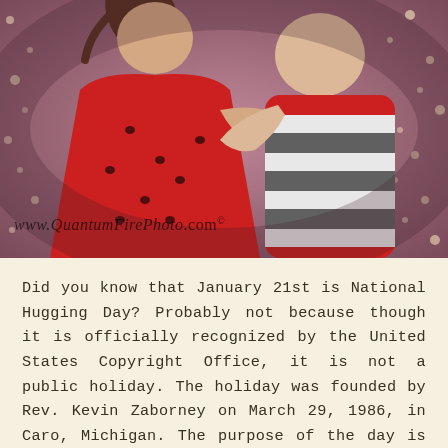[Figure (photo): Two young children hugging each other against a pink/mauve bokeh background with sparkling lights. The child on the left wears a red dress with black heart polka dots, and the child on the right wears a red, white and gray striped outfit. A watermark reads 'www.QuantumFirePhoto.com' with a small flame logo.]
Did you know that January 21st is National Hugging Day? Probably not because though it is officially recognized by the United States Copyright Office, it is not a public holiday. The holiday was founded by Rev. Kevin Zaborney on March 29, 1986, in Caro, Michigan. The purpose of the day is to help everyone show more emotion in public. There is only one way you are supposed to celebrate the holiday,...